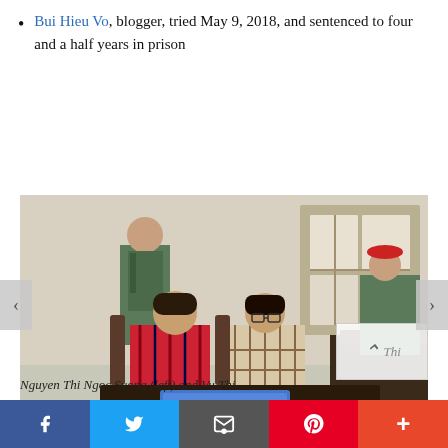Bui Hieu Vo, blogger, tried May 9, 2018, and sentenced to four and a half years in prison
[Figure (photo): Two women seated at a courtroom defendant's bench. The woman on the left wears a red plaid shirt, the woman on the right wears a light plaid shirt and glasses. A uniformed officer is visible in the background on the right. A sign reading 'NGUOI THAM GIA' is visible in the foreground.]
Nguyen Thi Ngoc Suong (left) and Vu Thi